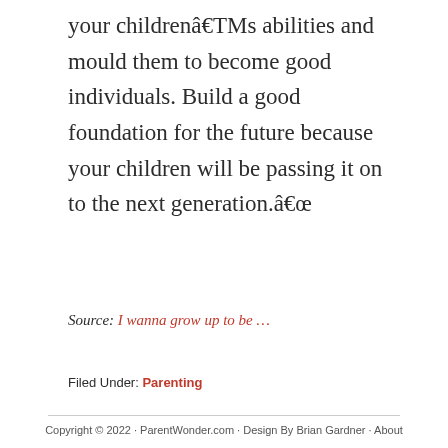your childrenâ€TMs abilities and mould them to become good individuals. Build a good foundation for the future because your children will be passing it on to the next generation.â€œ
Source: I wanna grow up to be ...
Filed Under: Parenting
Copyright © 2022 · ParentWonder.com · Design By Brian Gardner · About